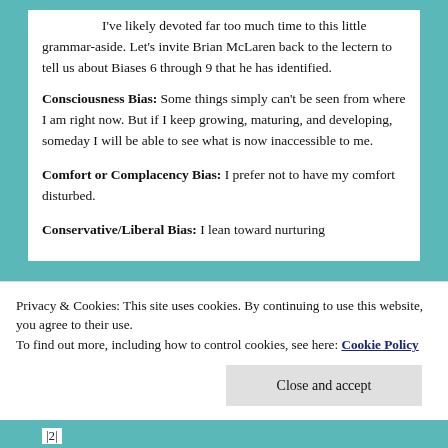I've likely devoted far too much time to this little grammar-aside.  Let's invite Brian McLaren back to the lectern to tell us about Biases 6 through 9 that he has identified.
Consciousness Bias: Some things simply can't be seen from where I am right now.  But if I keep growing, maturing, and developing, someday I will be able to see what is now inaccessible to me.
Comfort or Complacency Bias: I prefer not to have my comfort disturbed.
Conservative/Liberal Bias: I lean toward nurturing
Privacy & Cookies: This site uses cookies. By continuing to use this website, you agree to their use.
To find out more, including how to control cookies, see here: Cookie Policy
Close and accept
|2|